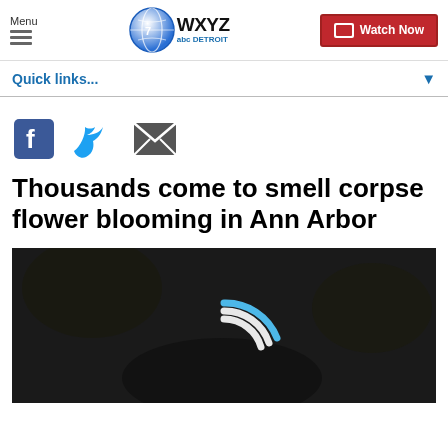Menu | WXYZ abc DETROIT | Watch Now
Quick links...
[Figure (other): Social sharing icons: Facebook, Twitter, Email]
Thousands come to smell corpse flower blooming in Ann Arbor
[Figure (photo): Dark photo of corpse flower with loading spinner overlay (blue and white arc animation)]